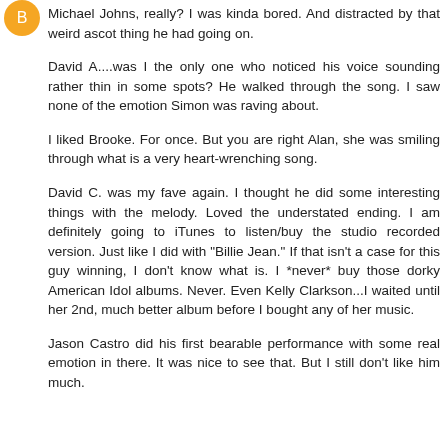[Figure (illustration): Orange circular avatar/user icon]
Michael Johns, really? I was kinda bored. And distracted by that weird ascot thing he had going on.
David A....was I the only one who noticed his voice sounding rather thin in some spots? He walked through the song. I saw none of the emotion Simon was raving about.
I liked Brooke. For once. But you are right Alan, she was smiling through what is a very heart-wrenching song.
David C. was my fave again. I thought he did some interesting things with the melody. Loved the understated ending. I am definitely going to iTunes to listen/buy the studio recorded version. Just like I did with "Billie Jean." If that isn't a case for this guy winning, I don't know what is. I *never* buy those dorky American Idol albums. Never. Even Kelly Clarkson...I waited until her 2nd, much better album before I bought any of her music.
Jason Castro did his first bearable performance with some real emotion in there. It was nice to see that. But I still don't like him much.